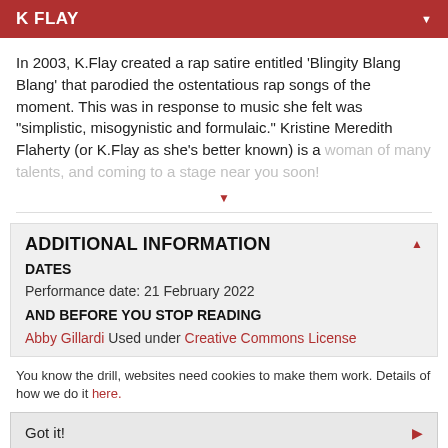K FLAY
In 2003, K.Flay created a rap satire entitled 'Blingity Blang Blang' that parodied the ostentatious rap songs of the moment. This was in response to music she felt was "simplistic, misogynistic and formulaic." Kristine Meredith Flaherty (or K.Flay as she's better known) is a woman of many talents, and coming to a stage near you soon!
ADDITIONAL INFORMATION
DATES
Performance date: 21 February 2022
AND BEFORE YOU STOP READING
Abby Gillardi Used under Creative Commons License
You know the drill, websites need cookies to make them work. Details of how we do it here.
Got it!